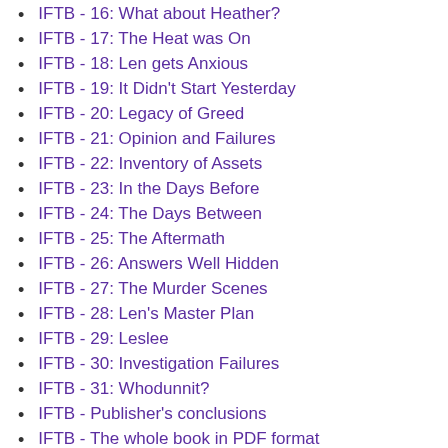IFTB - 16: What about Heather?
IFTB - 17: The Heat was On
IFTB - 18: Len gets Anxious
IFTB - 19: It Didn't Start Yesterday
IFTB - 20: Legacy of Greed
IFTB - 21: Opinion and Failures
IFTB - 22: Inventory of Assets
IFTB - 23: In the Days Before
IFTB - 24: The Days Between
IFTB - 25: The Aftermath
IFTB - 26: Answers Well Hidden
IFTB - 27: The Murder Scenes
IFTB - 28: Len's Master Plan
IFTB - 29: Leslee
IFTB - 30: Investigation Failures
IFTB - 31: Whodunnit?
IFTB - Publisher's conclusions
IFTB - The whole book in PDF format